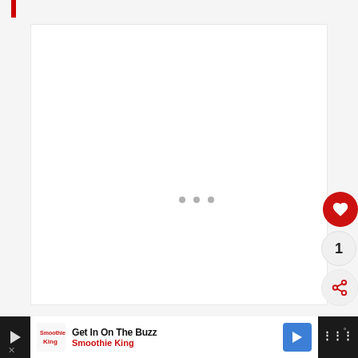[Figure (screenshot): Web page screenshot showing a white content card with loading dots indicator, a red heart/like button, a like counter showing 1, and a share button on the right side]
[Figure (infographic): Advertisement banner at the bottom: Smoothie King ad with 'Get In On The Buzz' headline, Smoothie King brand name in red, a navigation arrow button, and dark strips on the sides]